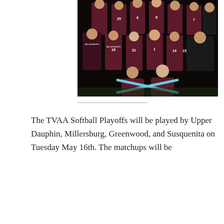[Figure (photo): Team photo of Millersburg softball team in maroon uniforms, posed in three rows plus two players seated in front holding crossed bats, with coaches on the sides.]
The TVAA Softball Playoffs will be played by Upper Dauphin, Millersburg, Greenwood, and Susquenita on Tuesday May 16th. The matchups will be